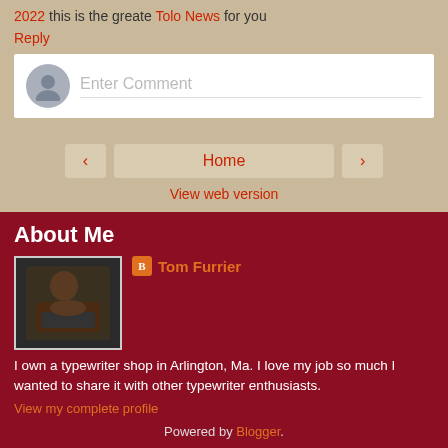2022 this is the greate Tolo News for you
Reply
[Figure (other): Comment input box with anonymous user avatar placeholder and 'Enter Comment' placeholder text]
Home
View web version
About Me
[Figure (photo): Photo of Tom Furrier, a person working at a typewriter shop]
Tom Furrier
I own a typewriter shop in Arlington, Ma. I love my job so much I wanted to share it with other typewriter enthusiasts.
View my complete profile
Powered by Blogger.